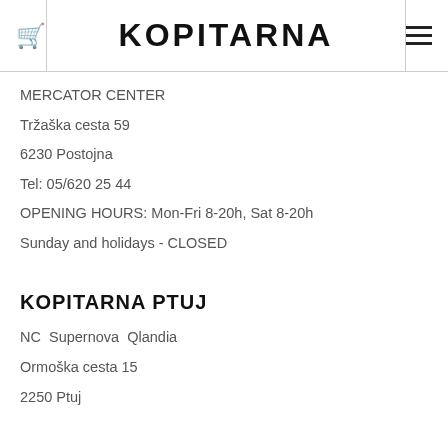KOPITARNA
MERCATOR CENTER
Tržaška cesta 59
6230 Postojna
Tel: 05/620 25 44
OPENING HOURS: Mon-Fri 8-20h, Sat 8-20h
Sunday and holidays - CLOSED
KOPITARNA PTUJ
NC  Supernova  Qlandia
Ormoška cesta 15
2250 Ptuj